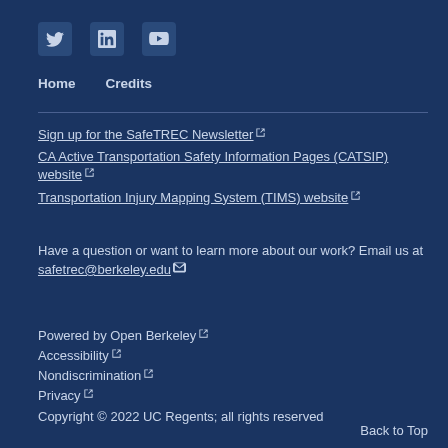[Figure (other): Social media icons: Twitter, LinkedIn, YouTube]
Home   Credits
Sign up for the SafeTREC Newsletter [external link]
CA Active Transportation Safety Information Pages (CATSIP) website [external link]
Transportation Injury Mapping System (TIMS) website [external link]
Have a question or want to learn more about our work? Email us at safetrec@berkeley.edu
Powered by Open Berkeley [external link]
Accessibility [external link]
Nondiscrimination [external link]
Privacy [external link]
Copyright © 2022 UC Regents; all rights reserved
Back to Top